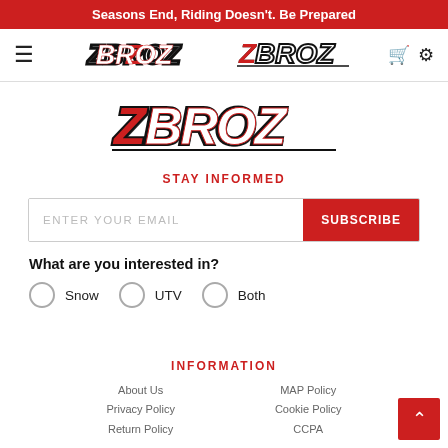Seasons End, Riding Doesn't. Be Prepared
[Figure (logo): ZBROZ logo in navigation bar with hamburger menu and cart/settings icons]
[Figure (logo): Large ZBROZ logo in main content area]
STAY INFORMED
ENTER YOUR EMAIL | SUBSCRIBE
What are you interested in?
Snow
UTV
Both
INFORMATION
About Us
Privacy Policy
Return Policy
MAP Policy
Cookie Policy
CCPA